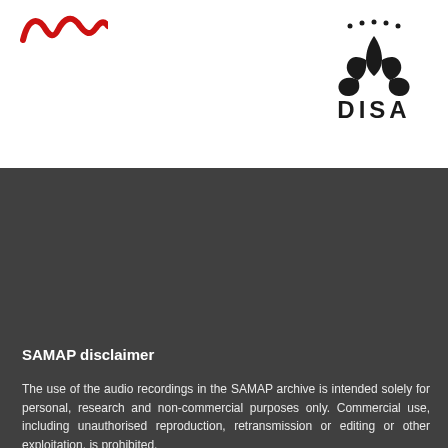[Figure (logo): Red stylized wave/mountain logo in top-left]
[Figure (logo): DISA logo with black lotus/flower emblem and dots above, text DISA below]
SAMAP disclaimer
The use of the audio recordings in the SAMAP archive is intended solely for personal, research and non-commercial purposes only. Commercial use, including unauthorised reproduction, retransmission or editing or other exploitation, is prohibited.
Copyright of music provided on this website remains vested with the original artistes, producers and recording houses. SAMAP is in no way claiming any ownership or credit. The SAMAP archive is made available on an "as is" basis, and without warranties of any kind, express or implied.